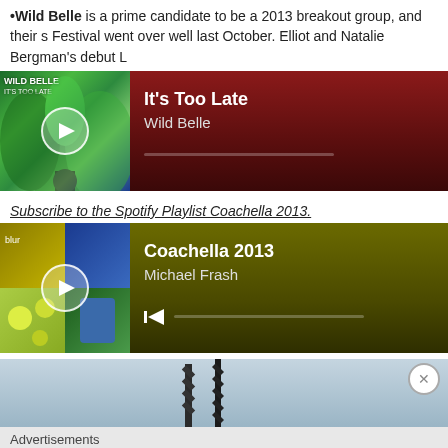•Wild Belle is a prime candidate to be a 2013 breakout group, and their s Festival went over well last October. Elliot and Natalie Bergman's debut L
[Figure (screenshot): Spotify embedded music player showing 'It's Too Late' by Wild Belle with dark red/maroon background and album artwork]
Subscribe to the Spotify Playlist Coachella 2013.
[Figure (screenshot): Spotify embedded playlist player showing 'Coachella 2013' by Michael Frash with dark olive/gold background and album collage]
[Figure (photo): Outdoor photo at Coachella festival showing tall sculptural art installations against a light blue sky]
Advertisements
[Figure (screenshot): DuckDuckGo advertisement banner: 'Search, browse, and email with more privacy. All in One Free App' on orange background with DuckDuckGo logo on dark background]